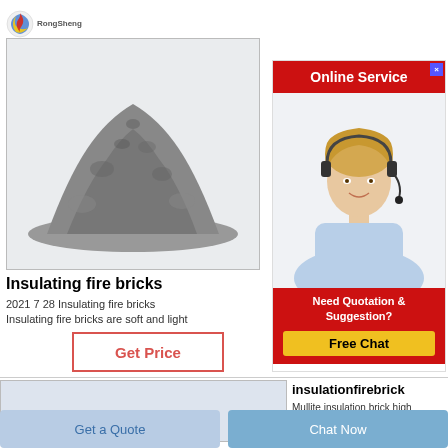[Figure (logo): RongSheng company logo - flame/globe icon with company name text]
[Figure (photo): Gray insulating fire brick powder/material pile on white background]
Insulating fire bricks
2021 7 28 Insulating fire bricks
Insulating fire bricks are soft and light
[Figure (infographic): Get Price button with red border]
[Figure (infographic): Online Service banner in red with close X button, customer service representative photo, Need Quotation & Suggestion text, Free Chat button in yellow]
[Figure (photo): Second product image - light blue/gray background insulation brick]
insulationfirebrick
Mullite insulation brick high
[Figure (infographic): Get a Quote button - light blue]
[Figure (infographic): Chat Now button - medium blue]